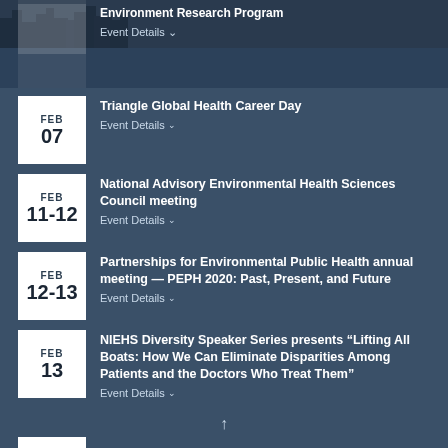Environment Research Program
Event Details
FEB 07 — Triangle Global Health Career Day
Event Details
FEB 11-12 — National Advisory Environmental Health Sciences Council meeting
Event Details
FEB 12-13 — Partnerships for Environmental Public Health annual meeting — PEPH 2020: Past, Present, and Future
Event Details
FEB 13 — NIEHS Diversity Speaker Series presents "Lifting All Boats: How We Can Eliminate Disparities Among Patients and the Doctors Who Treat Them"
Event Details